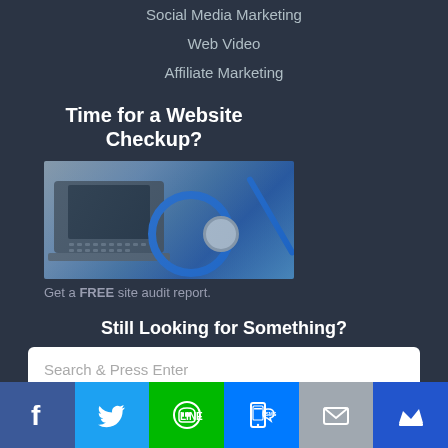Social Media Marketing
Web Video
Affiliate Marketing
Time for a Website Checkup?
[Figure (photo): A laptop with a blue stethoscope placed on top of it, suggesting a website health checkup.]
Get a FREE site audit report.
Still Looking for Something?
Search & Press Enter
[Figure (infographic): Social media share bar with Facebook, Twitter, LINE, SMS, Email, and crown icons.]